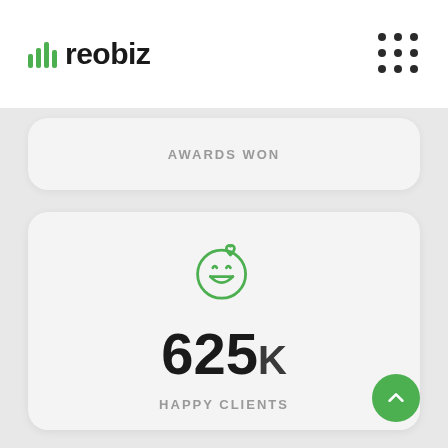[Figure (logo): Reobiz logo with green bar chart icon and bold black text 'reobiz']
AWARDS WON
[Figure (infographic): Happy clients stat card showing a green smiley face with heart icon, the number 625K, and label HAPPY CLIENTS]